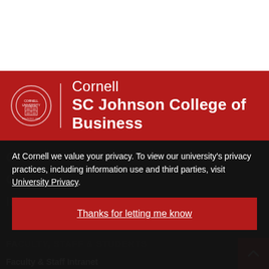[Figure (logo): Cornell SC Johnson College of Business red header with Cornell shield logo on left, vertical white divider, and text 'Cornell SC Johnson College of Business' in white on red background]
At Cornell we value your privacy. To view our university's privacy practices, including information use and third parties, visit University Privacy.
Thanks for letting me know
FACULTY, STAFF & STUDENTS
Faculty & Staff Intranet